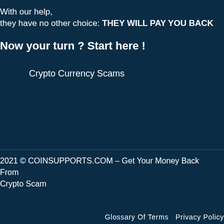With our help,
they have no other choice: THEY WILL PAY YOU BACK
Now your turn ? Start here !
Crypto Currency Scams
2021 © COINSUPPORTS.COM – Get Your Money Back From Crypto Scam
Glossary Of Terms   Privacy Policy